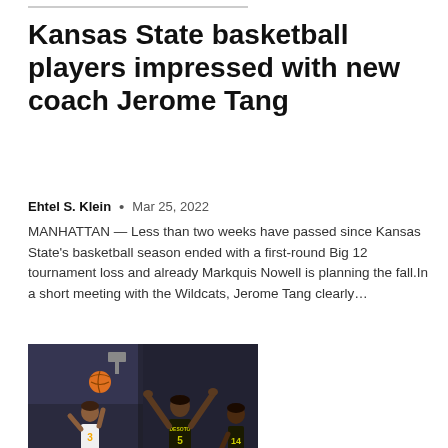Kansas State basketball players impressed with new coach Jerome Tang
Ehtel S. Klein • Mar 25, 2022
MANHATTAN — Less than two weeks have passed since Kansas State's basketball season ended with a first-round Big 12 tournament loss and already Markquis Nowell is planning the fall.In a short meeting with the Wildcats, Jerome Tang clearly…
[Figure (photo): Basketball players during a game; one player in a white jersey numbered 3 shoots while a DeSoto player numbered 5 in a dark jersey defends with arms raised.]